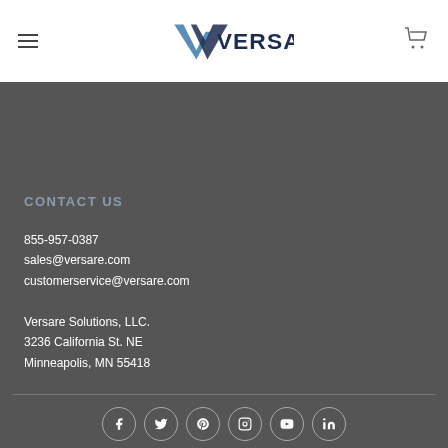Versare (logo with hamburger menu and cart icon)
CONTACT US
855-957-0387
sales@versare.com
customerservice@versare.com
Versare Solutions, LLC.
3236 California St. NE
Minneapolis, MN 55418
[Figure (other): Social media icons: Facebook, Twitter, Pinterest, Instagram, YouTube, LinkedIn — circular outlined icons in a horizontal row]